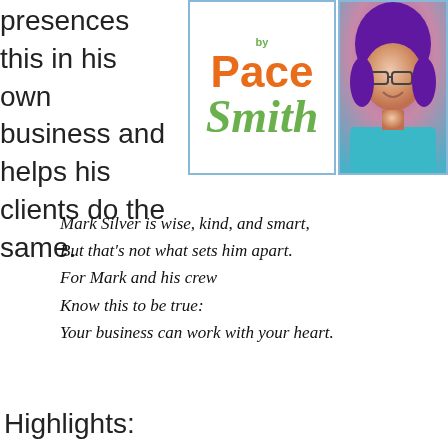presences this in his own business and helps his clients do the same.
[Figure (illustration): Book cover for 'Pace Smith' with orange and green text on white background with light blue border]
[Figure (photo): Author photo of a woman with purple hair wearing glasses, smiling]
Mark Silver is wise, kind, and smart,
But that's not what sets him apart.
For Mark and his crew
Know this to be true:
Your business can work with your heart.
Highlights: